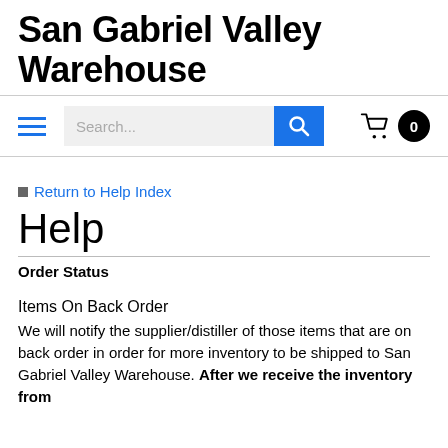San Gabriel Valley Warehouse
[Figure (screenshot): Navigation bar with hamburger menu (three blue lines), search box with placeholder 'Search...', blue search button with magnifying glass icon, and shopping cart icon with 0 badge]
Return to Help Index
Help
Order Status
Items On Back Order
We will notify the supplier/distiller of those items that are on back order in order for more inventory to be shipped to San Gabriel Valley Warehouse. After we receive the inventory from